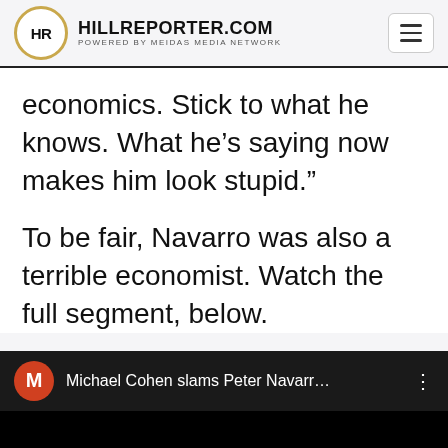HILLREPORTER.COM POWERED BY MEIDAS MEDIA NETWORK
economics. Stick to what he knows. What he’s saying now makes him look stupid.”
To be fair, Navarro was also a terrible economist. Watch the full segment, below.
[Figure (screenshot): YouTube video embed showing 'Michael Cohen slams Peter Navarr...' with red M avatar icon and three-dot menu, black video area below]